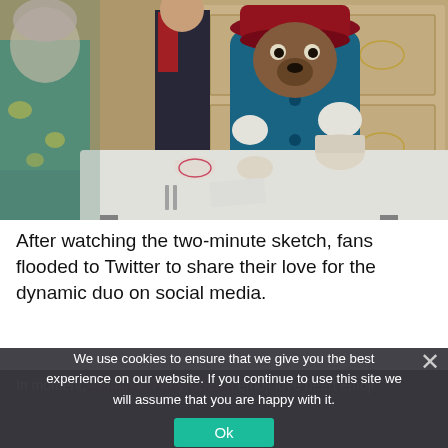[Figure (photo): Paddington Bear character in blue coat and red hat sitting at a formal table set for tea in an ornate room, with a person in formal dress standing in background and another figure in a floral outfit partially visible at left.]
After watching the two-minute sketch, fans flooded to Twitter to share their love for the dynamic duo on social media.
We use cookies to ensure that we give you the best experience on our website. If you continue to use this site we will assume that you are happy with it.